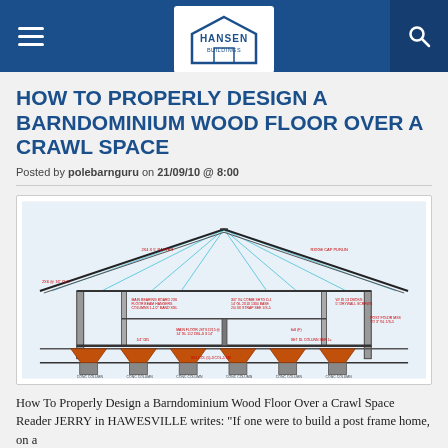Hansen Buildings — site navigation header with logo
HOW TO PROPERLY DESIGN A BARNDOMINIUM WOOD FLOOR OVER A CRAWL SPACE
Posted by polebarnguru on 21/09/10 @ 8:00
[Figure (engineering-diagram): Architectural cross-section drawing of a barndominium structure showing roof framing, wall framing, floor system, and crawl space with concrete columns. Annotations in red text indicate structural members and specifications. Cyan diagonal lines show roof load paths. Orange triangular footings on concrete columns at base.]
How To Properly Design a Barndominium Wood Floor Over a Crawl Space Reader JERRY in HAWESVILLE writes: "If one were to build a post frame home, on a..."